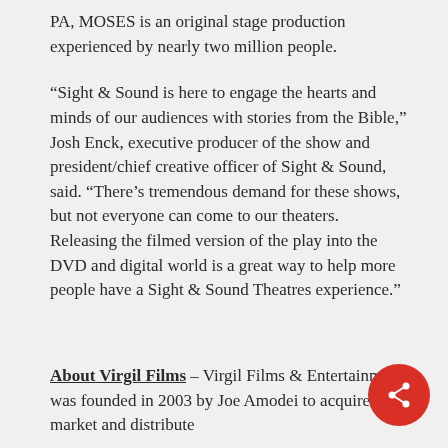PA, MOSES is an original stage production experienced by nearly two million people.
“Sight & Sound is here to engage the hearts and minds of our audiences with stories from the Bible,” Josh Enck, executive producer of the show and president/chief creative officer of Sight & Sound, said. “There’s tremendous demand for these shows, but not everyone can come to our theaters. Releasing the filmed version of the play into the DVD and digital world is a great way to help more people have a Sight & Sound Theatres experience.”
About Virgil Films – Virgil Films & Entertainment was founded in 2003 by Joe Amodei to acquire, market and distribute